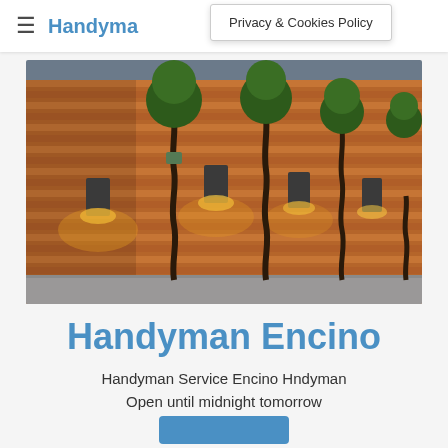Handyman (brand logo/nav)
Privacy & Cookies Policy
[Figure (photo): Photograph of a modern wooden slatted fence/wall with wall-mounted uplighter lights and topiary trees with twisted spiral trunks planted in gravel]
Handyman Encino
Handyman Service Encino Hndyman Open until midnight tomorrow